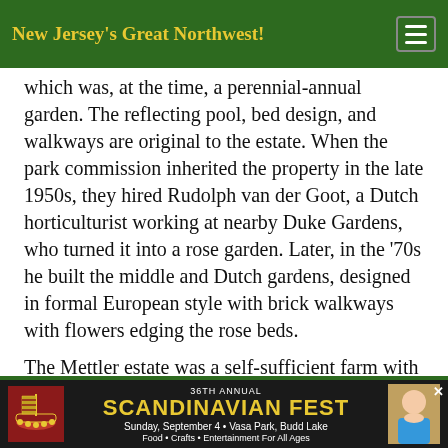New Jersey's Great Northwest!
which was, at the time, a perennial-annual garden. The reflecting pool, bed design, and walkways are original to the estate. When the park commission inherited the property in the late 1950s, they hired Rudolph van der Goot, a Dutch horticulturist working at nearby Duke Gardens, who turned it into a rose garden. Later, in the '70s he built the middle and Dutch gardens, designed in formal European style with brick walkways with flowers edging the rose beds.
The Mettler estate was a self-sufficient farm with cattle and field crops, but they enjoyed various activity. Just down Colonial Drive at Powdermill
[Figure (infographic): Advertisement banner for 36th Annual Scandinavian Fest: Sunday, September 4 · Vasa Park, Budd Lake. Food · Crafts · Entertainment For All Ages. Features a Viking ship logo on the left and a photo of a woman on the right.]